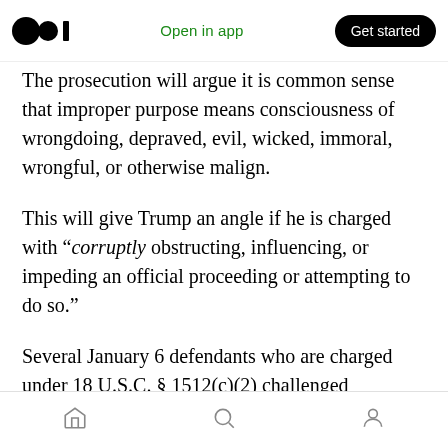Open in app | Get started
The prosecution will argue it is common sense that improper purpose means consciousness of wrongdoing, depraved, evil, wicked, immoral, wrongful, or otherwise malign.
This will give Trump an angle if he is charged with “corruptly obstructing, influencing, or impeding an official proceeding or attempting to do so.”
Several January 6 defendants who are charged under 18 U.S.C. § 1512(c)(2) challenged “corruptly” as unconstitutionally vague. In a
Home | Search | Profile